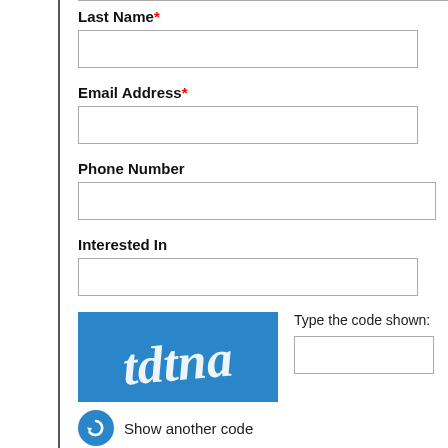Last Name*
Email Address*
Phone Number
Interested In
[Figure (other): CAPTCHA image with blue background showing handwritten-style text 'tdtna' in white italic script]
Type the code shown:
Show another code